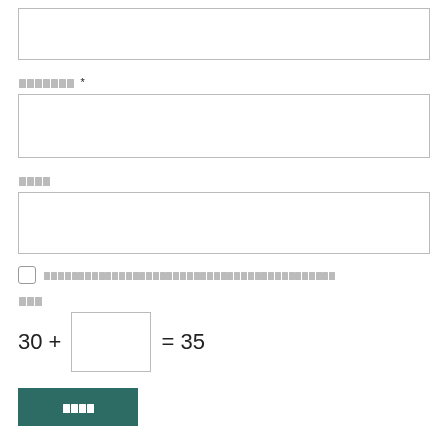[Figure (screenshot): Form input field (empty text box, first field, no label visible at top)]
▪▪▪▪▪▪▪ *
[Figure (screenshot): Form input field (empty text box, second field)]
▪▪▪▪
[Figure (screenshot): Form input field (empty text box, third field)]
▪▪▪▪▪▪▪▪▪▪▪▪▪▪▪▪▪▪▪▪▪▪▪▪▪▪▪▪▪▪▪▪▪▪▪▪▪▪▪▪▪▪▪
▪▪▪
▪▪▪▪